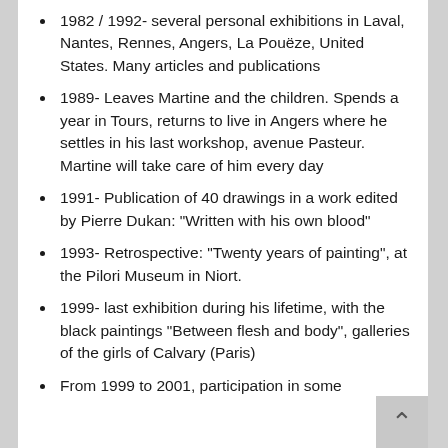1982 / 1992- several personal exhibitions in Laval, Nantes, Rennes, Angers, La Pouëze, United States. Many articles and publications
1989- Leaves Martine and the children. Spends a year in Tours, returns to live in Angers where he settles in his last workshop, avenue Pasteur. Martine will take care of him every day
1991- Publication of 40 drawings in a work edited by Pierre Dukan: "Written with his own blood"
1993- Retrospective: “Twenty years of painting”, at the Pilori Museum in Niort.
1999- last exhibition during his lifetime, with the black paintings “Between flesh and body”, galleries of the girls of Calvary (Paris)
From 1999 to 2001, participation in some